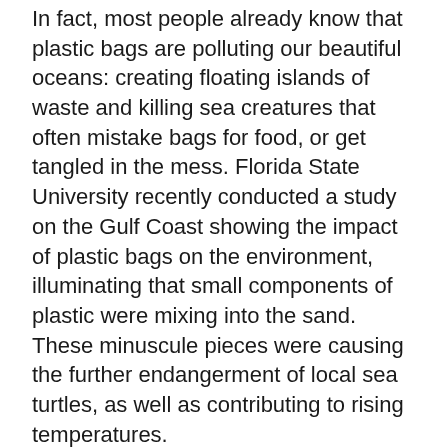In fact, most people already know that plastic bags are polluting our beautiful oceans: creating floating islands of waste and killing sea creatures that often mistake bags for food, or get tangled in the mess. Florida State University recently conducted a study on the Gulf Coast showing the impact of plastic bags on the environment, illuminating that small components of plastic were mixing into the sand. These minuscule pieces were causing the further endangerment of local sea turtles, as well as contributing to rising temperatures.
Thankfully, two of Australia's biggest supermarkets Woolworths and Coles, have recently proclaimed that they will cease to provide plastic bags, phasing them out completely over the next year. Now, customers have the choice to either bring their own bag, or they will be offered a heavy-duty alternative at the price of 15 cents. While this seems like good news for those interested in sustainability, simply charging for a plastic bag, doesn't necessarily solve the issue completely. Many people are willing to pay the extra price, and thus continue